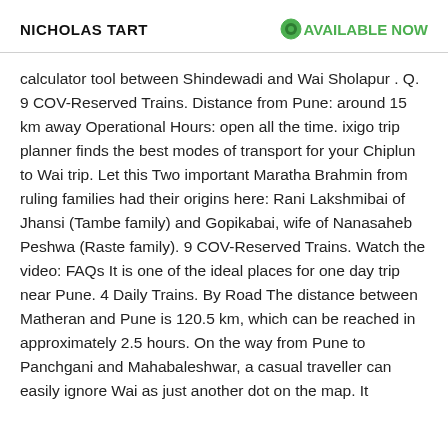NICHOLAS TART
AVAILABLE NOW
calculator tool between Shindewadi and Wai Sholapur . Q. 9 COV-Reserved Trains. Distance from Pune: around 15 km away Operational Hours: open all the time. ixigo trip planner finds the best modes of transport for your Chiplun to Wai trip. Let this Two important Maratha Brahmin from ruling families had their origins here: Rani Lakshmibai of Jhansi (Tambe family) and Gopikabai, wife of Nanasaheb Peshwa (Raste family). 9 COV-Reserved Trains. Watch the video: FAQs It is one of the ideal places for one day trip near Pune. 4 Daily Trains. By Road The distance between Matheran and Pune is 120.5 km, which can be reached in approximately 2.5 hours. On the way from Pune to Panchgani and Mahabaleshwar, a casual traveller can easily ignore Wai as just another dot on the map. It